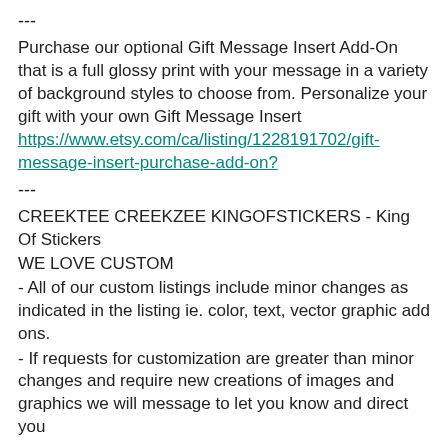---
Purchase our optional Gift Message Insert Add-On that is a full glossy print with your message in a variety of background styles to choose from. Personalize your gift with your own Gift Message Insert https://www.etsy.com/ca/listing/1228191702/gift-message-insert-purchase-add-on?
---
CREEKTEE CREEKZEE KINGOFSTICKERS - King Of Stickers
WE LOVE CUSTOM
- All of our custom listings include minor changes as indicated in the listing ie. color, text, vector graphic add ons.
- If requests for customization are greater than minor changes and require new creations of images and graphics we will message to let you know and direct you